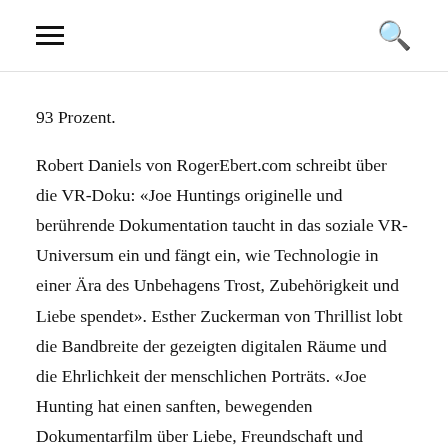[hamburger menu] [search icon]
93 Prozent.
Robert Daniels von RogerEbert.com schreibt über die VR-Doku: «Joe Huntings originelle und berührende Dokumentation taucht in das soziale VR-Universum ein und fängt ein, wie Technologie in einer Ära des Unbehagens Trost, Zubehörigkeit und Liebe spendet». Esther Zuckerman von Thrillist lobt die Bandbreite der gezeigten digitalen Räume und die Ehrlichkeit der menschlichen Porträts. «Joe Hunting hat einen sanften, bewegenden Dokumentarfilm über Liebe, Freundschaft und Menschen gedreht, die einen Ort finden, an dem sie sie selbst sein